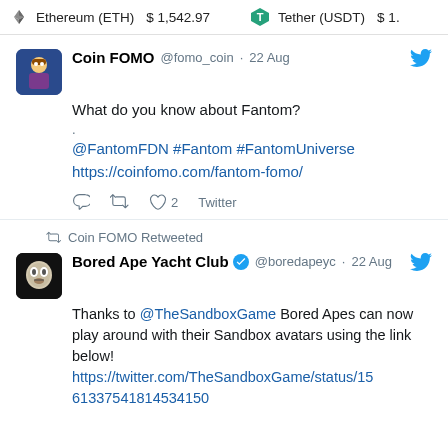Ethereum (ETH)  $1,542.97    Tether (USDT)  $1.
Coin FOMO @fomo_coin · 22 Aug
What do you know about Fantom?
.
@FantomFDN #Fantom #FantomUniverse
https://coinfomo.com/fantom-fomo/
♡ 2  Twitter
Coin FOMO Retweeted
Bored Ape Yacht Club @boredapeyc · 22 Aug
Thanks to @TheSandboxGame Bored Apes can now play around with their Sandbox avatars using the link below!
https://twitter.com/TheSandboxGame/status/1561337541814534150